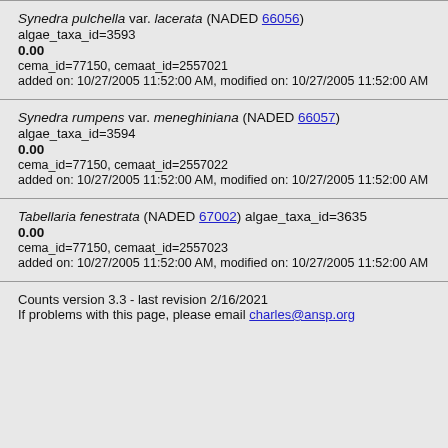Synedra pulchella var. lacerata (NADED 66056) algae_taxa_id=3593
0.00
cema_id=77150, cemaat_id=2557021
added on: 10/27/2005 11:52:00 AM, modified on: 10/27/2005 11:52:00 AM
Synedra rumpens var. meneghiniana (NADED 66057) algae_taxa_id=3594
0.00
cema_id=77150, cemaat_id=2557022
added on: 10/27/2005 11:52:00 AM, modified on: 10/27/2005 11:52:00 AM
Tabellaria fenestrata (NADED 67002) algae_taxa_id=3635
0.00
cema_id=77150, cemaat_id=2557023
added on: 10/27/2005 11:52:00 AM, modified on: 10/27/2005 11:52:00 AM
Counts version 3.3 - last revision 2/16/2021
If problems with this page, please email charles@ansp.org